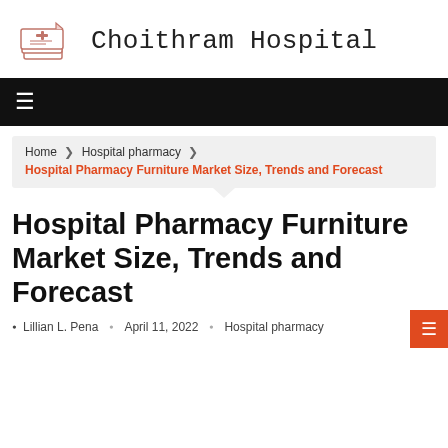Choithram Hospital
[Figure (illustration): Hospital logo icon — stylized layered document/card icon in red and gray outline]
Home » Hospital pharmacy » Hospital Pharmacy Furniture Market Size, Trends and Forecast
Hospital Pharmacy Furniture Market Size, Trends and Forecast
Lillian L. Pena · April 11, 2022 · Hospital pharmacy